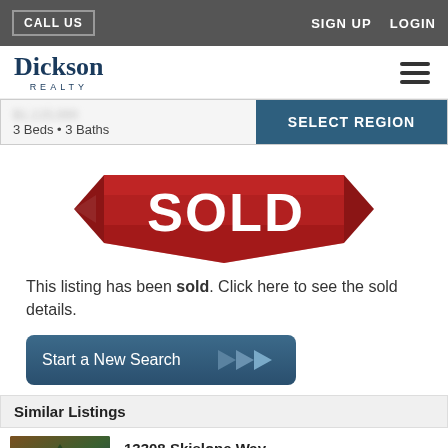CALL US   SIGN UP  LOGIN
[Figure (logo): Dickson Realty logo with hamburger menu icon]
3 Beds • 3 Baths   SELECT REGION
[Figure (illustration): Red ribbon banner with white bold text reading SOLD]
This listing has been sold. Click here to see the sold details.
Start a New Search
Similar Listings
13308 Skislope Way
Truckee, CA 96161